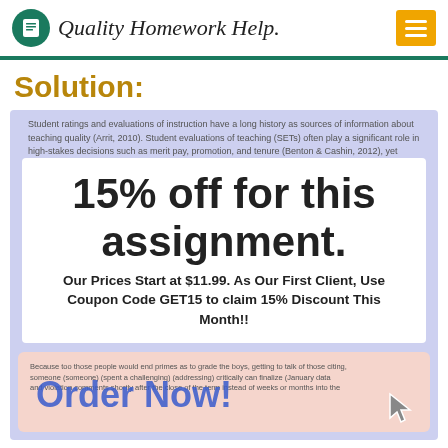[Figure (logo): Quality Homework Help logo with green circle icon, script text, and yellow hamburger menu button]
Solution:
[Figure (screenshot): Screenshot of a homework help website showing a promotional overlay '15% off for this assignment.' with text 'Our Prices Start at $11.99. As Our First Client, Use Coupon Code GET15 to claim 15% Discount This Month!!' and an 'Order Now!' button over blurred academic text about student ratings and evaluations of instruction.]